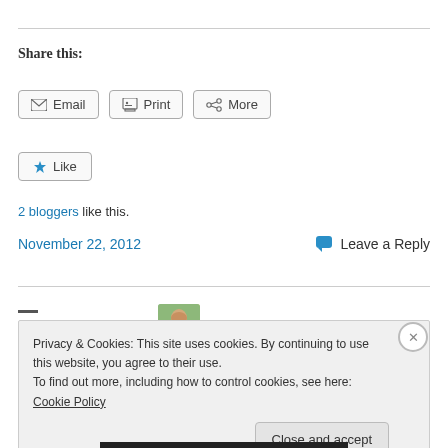Share this:
Email  Print  More
Like  [avatar]
2 bloggers like this.
November 22, 2012   Leave a Reply
Privacy & Cookies: This site uses cookies. By continuing to use this website, you agree to their use.
To find out more, including how to control cookies, see here: Cookie Policy
Close and accept